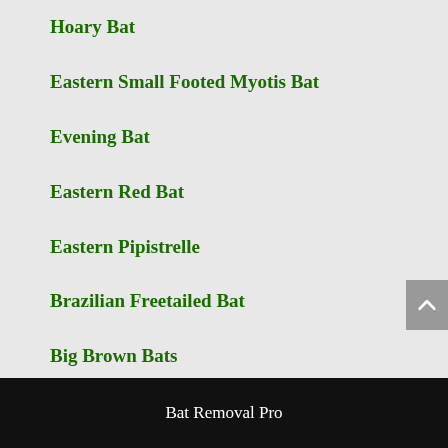Hoary Bat
Eastern Small Footed Myotis Bat
Evening Bat
Eastern Red Bat
Eastern Pipistrelle
Brazilian Freetailed Bat
Big Brown Bats
Bat Removal Pro